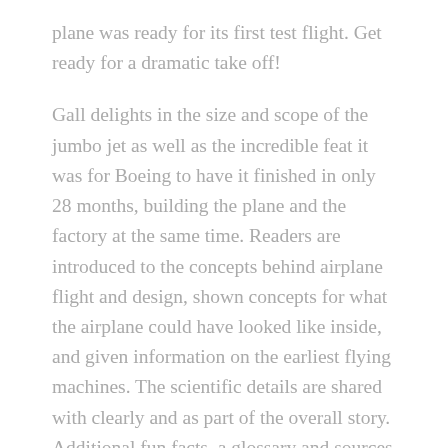plane was ready for its first test flight. Get ready for a dramatic take off!
Gall delights in the size and scope of the jumbo jet as well as the incredible feat it was for Boeing to have it finished in only 28 months, building the plane and the factory at the same time. Readers are introduced to the concepts behind airplane flight and design, shown concepts for what the airplane could have looked like inside, and given information on the earliest flying machines. The scientific details are shared with clearly and as part of the overall story. Additional fun facts, a glossary and sources are offered at the end of the book.
The illustrations by Gall have a marvelous vintage vibe that places the book firmly in the 1960's. They are clearly and so on with the detailed images of the plane...